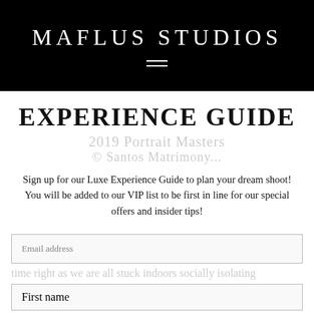MAFLUS STUDIOS
EXPERIENCE GUIDE
2019 Portrait Masters
© Santos Matrimony...
Sign up for our Luxe Experience Guide to plan your dream shoot! You will be added to our VIP list to be first in line for our special offers and insider tips!
Email address
time right as we are all stuck indoors socially isolating
First name